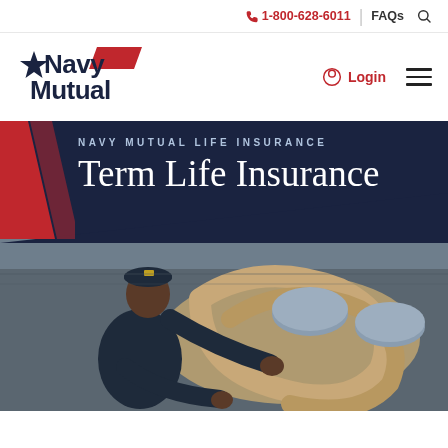1-800-628-6011 | FAQs
[Figure (logo): Navy Mutual star logo with text 'Navy Mutual' and red parallelogram accent]
Login
NAVY MUTUAL LIFE INSURANCE Term Life Insurance
[Figure (photo): Navy sailor in dark uniform and cap working with thick rope lines on a ship deck, aerial view]